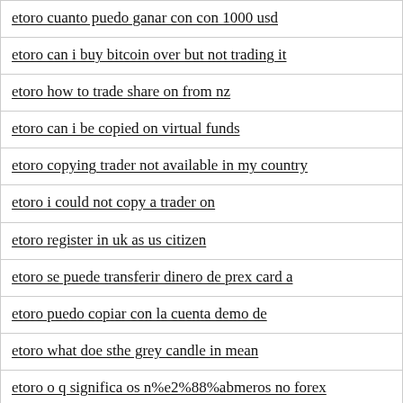etoro cuanto puedo ganar con con 1000 usd
etoro can i buy bitcoin over but not trading it
etoro how to trade share on from nz
etoro can i be copied on virtual funds
etoro copying trader not available in my country
etoro i could not copy a trader on
etoro register in uk as us citizen
etoro se puede transferir dinero de prex card a
etoro puedo copiar con la cuenta demo de
etoro what doe sthe grey candle in mean
etoro o q significa os n%e2%88%abmeros no forex
etoro solo puede comprar a partir de 200 dolares